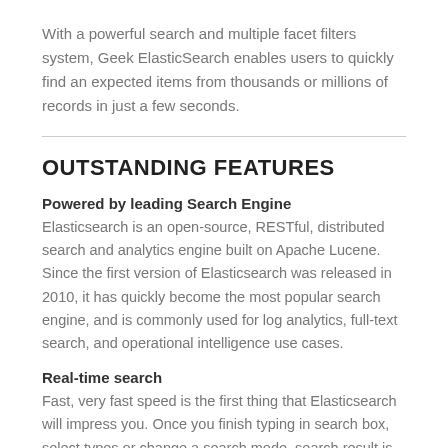With a powerful search and multiple facet filters system, Geek ElasticSearch enables users to quickly find an expected items from thousands or millions of records in just a few seconds.
OUTSTANDING FEATURES
Powered by leading Search Engine
Elasticsearch is an open-source, RESTful, distributed search and analytics engine built on Apache Lucene. Since the first version of Elasticsearch was released in 2010, it has quickly become the most popular search engine, and is commonly used for log analytics, full-text search, and operational intelligence use cases.
Real-time search
Fast, very fast speed is the first thing that Elasticsearch will impress you. Once you finish typing in search box, select types or change a search mode, search result is